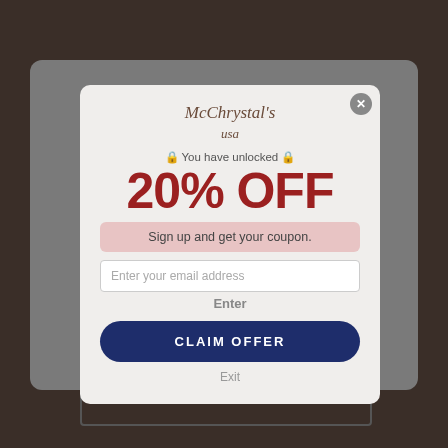[Figure (screenshot): Website popup modal showing a discount offer. Contains a logo 'McChrystal's', text '🔒 You have unlocked 🔒', large red '20% OFF', 'Sign up and get your coupon.', email input field, Enter label, blue 'CLAIM OFFER' button, and 'Exit' link. Background shows a blurred age verification page with 'Welcome!' and body text.]
20% OFF
🔒 You have unlocked 🔒
Sign up and get your coupon.
Enter your email address
Enter
CLAIM OFFER
Exit